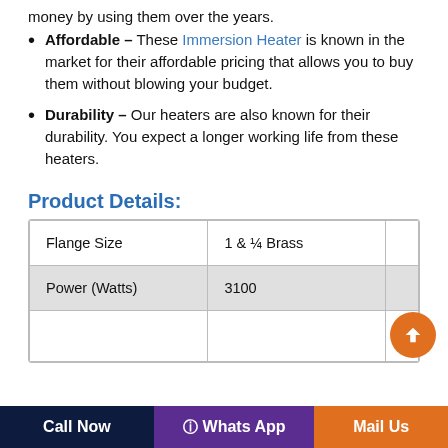money by using them over the years.
Affordable – These Immersion Heater is known in the market for their affordable pricing that allows you to buy them without blowing your budget.
Durability – Our heaters are also known for their durability. You expect a longer working life from these heaters.
Product Details:
|  |  |  |
| --- | --- | --- |
| Flange Size | 1 & ¼ Brass |  |
| Power (Watts) | 3100 |  |
Call Now  |  Whats App  |  Mail Us